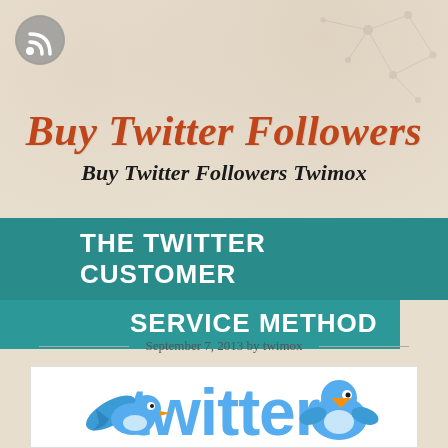[Figure (logo): RSS feed icon in grey/white circle, top left corner]
Buy Twitter Followers
Buy Twitter Followers Twimox
THE TWITTER CUSTOMER SERVICE METHOD
September 7, 2013 by twimox
[Figure (illustration): Twitter logo text in blue with Twitter bird mascot characters below on white background]